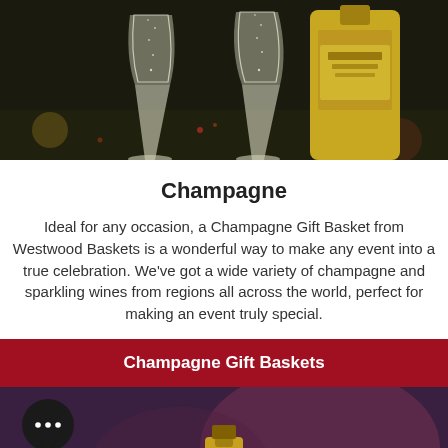[Figure (photo): Two champagne flutes with bubbles and a champagne bottle in the background on a dark surface]
Champagne
Ideal for any occasion, a Champagne Gift Basket from Westwood Baskets is a wonderful way to make any event into a true celebration. We’ve got a wide variety of champagne and sparkling wines from regions all across the world, perfect for making an event truly special.
Champagne Gift Baskets
[Figure (photo): Bottom portion of a webpage showing a chat bubble icon on the left and a blurred champagne bottle top on a dark purple/red background]